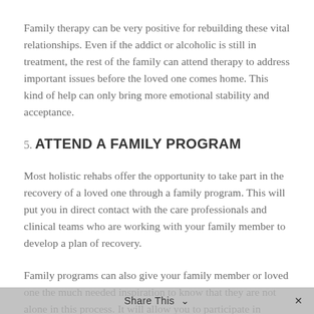Family therapy can be very positive for rebuilding these vital relationships. Even if the addict or alcoholic is still in treatment, the rest of the family can attend therapy to address important issues before the loved one comes home. This kind of help can only bring more emotional stability and acceptance.
5. ATTEND A FAMILY PROGRAM
Most holistic rehabs offer the opportunity to take part in the recovery of a loved one through a family program. This will put you in direct contact with the care professionals and clinical teams who are working with your family member to develop a plan of recovery.
Family programs can also give your family member or loved one the much needed inspiration to know that they are not alone in this process. It will allow you to participate in events
Share This ∨  ✕